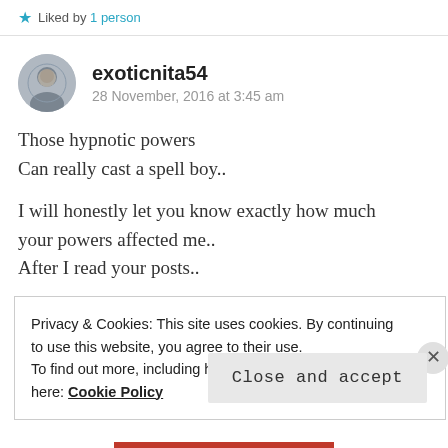★ Liked by 1 person
exoticnita54
28 November, 2016 at 3:45 am
Those hypnotic powers
Can really cast a spell boy..

I will honestly let you know exactly how much your powers affected me..
After I read your posts..
Privacy & Cookies: This site uses cookies. By continuing to use this website, you agree to their use.
To find out more, including how to control cookies, see here: Cookie Policy
Close and accept